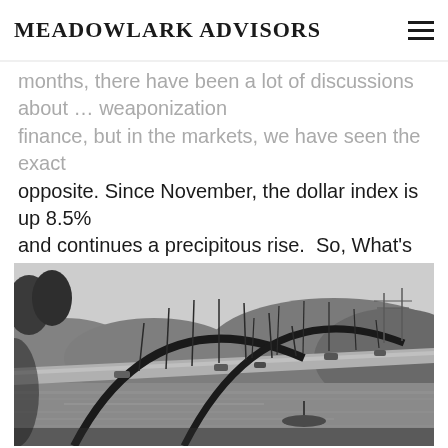MeadowLark Advisors
months, there have been a lot of discussions about … weaponization finance, but in the markets, we have seen the exact opposite. Since November, the dollar index is up 8.5% and continues a precipitous rise.  So, What's Going on?  Over the past [...]
[Figure (photo): Black and white aerial photograph of the Pennybacker (360) Bridge in Austin, Texas, showing the iconic arch bridge over Lake Austin with surrounding hills and roadways.]